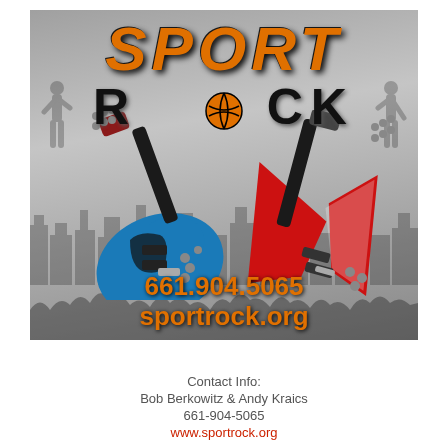[Figure (illustration): Sport Rock logo image: gray gradient background with city skyline and crowd silhouettes, two crossed electric guitars (blue Stratocaster and red Flying V), large orange italic 'SPORT' text and black 'ROCK' text with basketball replacing the letter O, phone number 661.904.5065 and website sportrock.org in orange at bottom]
Contact Info:
Bob Berkowitz & Andy Kraics
661-904-5065
www.sportrock.org